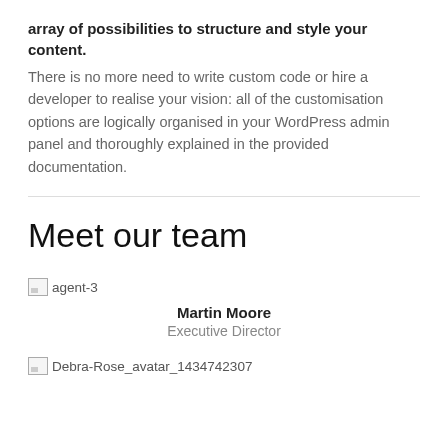array of possibilities to structure and style your content. There is no more need to write custom code or hire a developer to realise your vision: all of the customisation options are logically organised in your WordPress admin panel and thoroughly explained in the provided documentation.
Meet our team
[Figure (photo): Broken/missing image placeholder labeled 'agent-3']
Martin Moore
Executive Director
[Figure (photo): Broken/missing image placeholder labeled 'Debra-Rose_avatar_1434742307']